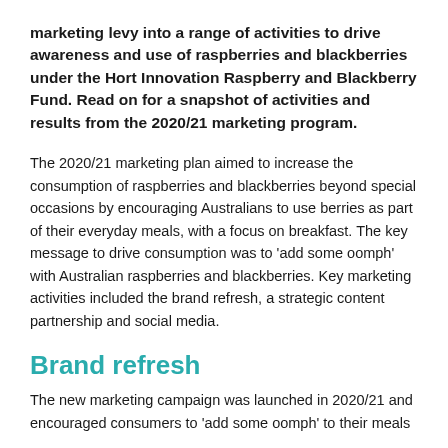marketing levy into a range of activities to drive awareness and use of raspberries and blackberries under the Hort Innovation Raspberry and Blackberry Fund. Read on for a snapshot of activities and results from the 2020/21 marketing program.
The 2020/21 marketing plan aimed to increase the consumption of raspberries and blackberries beyond special occasions by encouraging Australians to use berries as part of their everyday meals, with a focus on breakfast. The key message to drive consumption was to 'add some oomph' with Australian raspberries and blackberries. Key marketing activities included the brand refresh, a strategic content partnership and social media.
Brand refresh
The new marketing campaign was launched in 2020/21 and encouraged consumers to 'add some oomph' to their meals